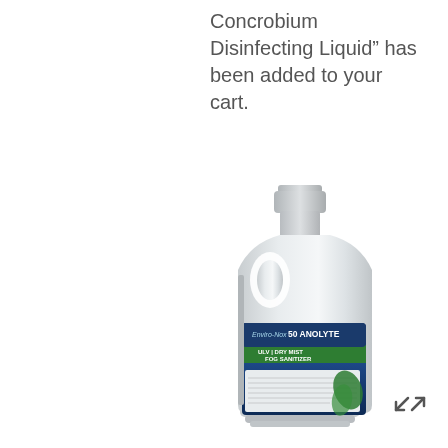Concrobium Disinfecting Liquid" has been added to your cart.
[Figure (photo): A white gallon jug of Enviro-Nox 50 Anolyte ULV Dry Mist Fog Sanitizer product with a blue and green label, sitting on a white background.]
[Figure (illustration): A small expand/fullscreen icon (double-headed diagonal arrows) in the bottom right corner.]